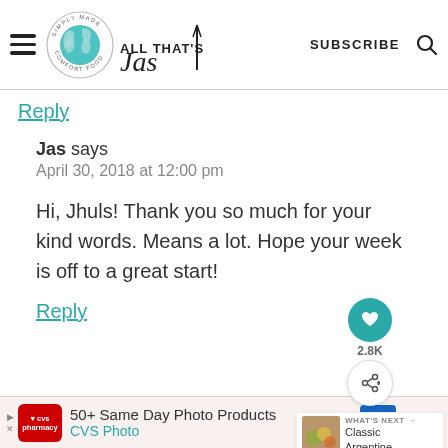ALL THAT'S Jas — SUBSCRIBE (logo: Simply Made Comfort Food)
Reply
Jas says
April 30, 2018 at 12:00 pm
Hi, Jhuls! Thank you so much for your kind words. Means a lot. Hope your week is off to a great start!
Reply
[Figure (other): CVS Photo advertisement banner: 50+ Same Day Photo Products, CVS Photo]
[Figure (other): Floating social buttons: heart (2.8K) and share icon, plus What's Next panel showing Classic Argentine...]